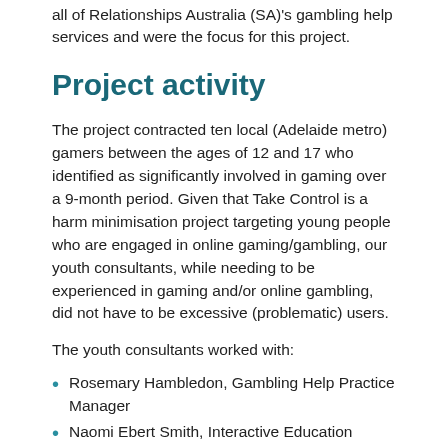all of Relationships Australia (SA)'s gambling help services and were the focus for this project.
Project activity
The project contracted ten local (Adelaide metro) gamers between the ages of 12 and 17 who identified as significantly involved in gaming over a 9-month period. Given that Take Control is a harm minimisation project targeting young people who are engaged in online gaming/gambling, our youth consultants, while needing to be experienced in gaming and/or online gambling, did not have to be excessive (problematic) users.
The youth consultants worked with:
Rosemary Hambledon, Gambling Help Practice Manager
Naomi Ebert Smith, Interactive Education Officer, and
KerryJ, Online Education Specialist.
Dr. Claire Ralfs, Relationships Australia (SA) Deputy CEO was the Project Sponsor and the project was funded in